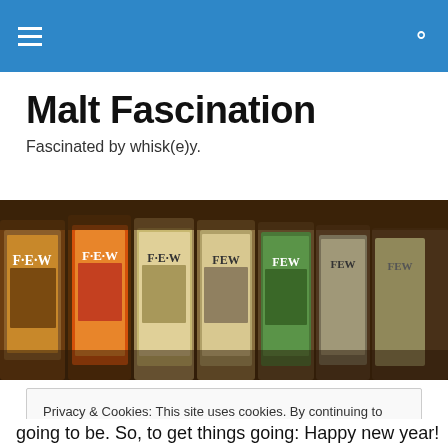≡  🔍
Malt Fascination
Fascinated by whisk(e)y.
[Figure (photo): A row of FEW whiskey bottles with various colorful labels lined up closely together]
Privacy & Cookies: This site uses cookies. By continuing to use this website, you agree to their use.
To find out more, including how to control cookies, see here: Cookie Policy
[Close and accept]
going to be. So, to get things going: Happy new year!